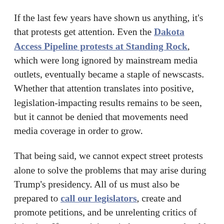If the last few years have shown us anything, it's that protests get attention. Even the Dakota Access Pipeline protests at Standing Rock, which were long ignored by mainstream media outlets, eventually became a staple of newscasts. Whether that attention translates into positive, legislation-impacting results remains to be seen, but it cannot be denied that movements need media coverage in order to grow.
That being said, we cannot expect street protests alone to solve the problems that may arise during Trump's presidency. All of us must also be prepared to call our legislators, create and promote petitions, and be unrelenting critics of injustice. If we participate in boycotts, we should be vocal about where we are spending our money and why. Tell liberal and conservative legislators alike about your protestations,